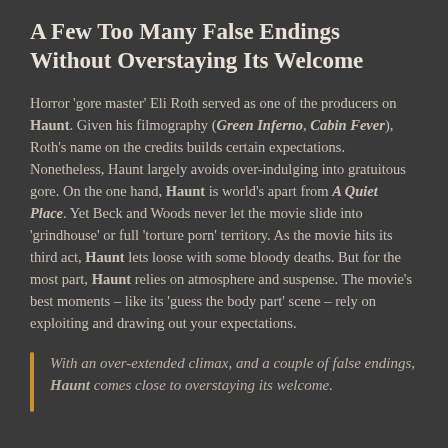A Few Too Many False Endings Without Overstaying Its Welcome
Horror 'gore master' Eli Roth served as one of the producers on Haunt. Given his filmography (Green Inferno, Cabin Fever), Roth's name on the credits builds certain expectations. Nonetheless, Haunt largely avoids over-indulging into gratuitous gore. On the one hand, Haunt is world's apart from A Quiet Place. Yet Beck and Woods never let the movie slide into 'grindhouse' or full 'torture porn' territory. As the movie hits its third act, Haunt lets loose with some bloody deaths. But for the most part, Haunt relies on atmosphere and suspense. The movie's best moments – like its 'guess the body part' scene – rely on exploiting and drawing out your expectations.
With an over-extended climax, and a couple of false endings, Haunt comes close to overstaying its welcome.